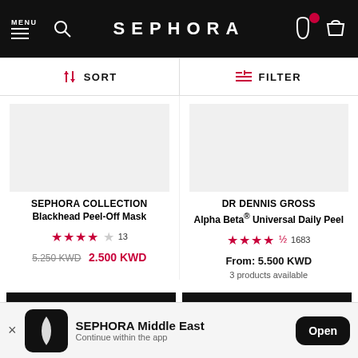SEPHORA
SORT   FILTER
[Figure (photo): Product image placeholder for Sephora Collection Blackhead Peel-Off Mask]
SEPHORA COLLECTION
Blackhead Peel-Off Mask
★★★★☆ 13
5.250 KWD  2.500 KWD
[Figure (photo): Product image placeholder for DR Dennis Gross Alpha Beta Universal Daily Peel]
DR DENNIS GROSS
Alpha Beta® Universal Daily Peel
★★★★½ 1683
From: 5.500 KWD
3 products available
ADD TO BASKET
ADD TO BASKET
SEPHORA Middle East
Continue within the app
Open